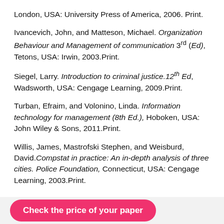London, USA: University Press of America, 2006. Print.
Ivancevich, John, and Matteson, Michael. Organization Behaviour and Management of communication 3rd (Ed), Tetons, USA: Irwin, 2003.Print.
Siegel, Larry. Introduction to criminal justice.12th Ed, Wadsworth, USA: Cengage Learning, 2009.Print.
Turban, Efraim, and Volonino, Linda. Information technology for management (8th Ed.), Hoboken, USA: John Wiley & Sons, 2011.Print.
Willis, James, Mastrofski Stephen, and Weisburd, David. Compstat in practice: An in-depth analysis of three cities. Police Foundation, Connecticut, USA: Cengage Learning, 2003.Print.
Check the price of your paper